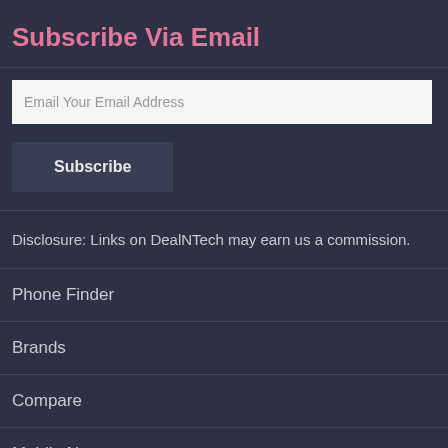Subscribe Via Email
Email Your Email Address
Subscribe
Disclosure: Links on DealNTech may earn us a commission.
Phone Finder
Brands
Compare
Mobile News